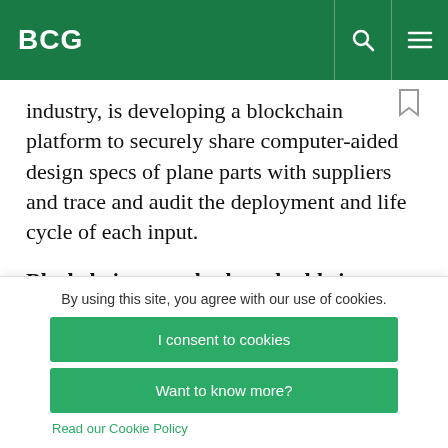BCG
industry, is developing a blockchain platform to securely share computer-aided design specs of plane parts with suppliers and trace and audit the deployment and life cycle of each input.
Blockchains can also be valuable in industries
By using this site, you agree with our use of cookies.
I consent to cookies
Want to know more?
Read our Cookie Policy